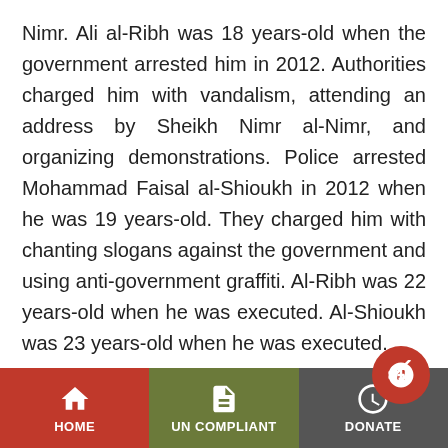Nimr. Ali al-Ribh was 18 years-old when the government arrested him in 2012. Authorities charged him with vandalism, attending an address by Sheikh Nimr al-Nimr, and organizing demonstrations. Police arrested Mohammad Faisal al-Shioukh in 2012 when he was 19 years-old. They charged him with chanting slogans against the government and using anti-government graffiti. Al-Ribh was 22 years-old when he was executed. Al-Shioukh was 23 years-old when he was executed.
Saudi Arabia has repeatedly sentenced people to death for their activism on social media...
HOME | UN COMPLIANT | DONATE